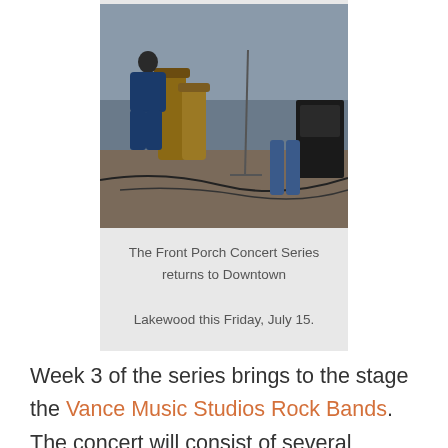[Figure (photo): Photo of performers on stage at the Front Porch Concert Series, showing conga drums and other musicians at an outdoor venue.]
The Front Porch Concert Series returns to Downtown Lakewood this Friday, July 15.
Week 3 of the series brings to the stage the Vance Music Studios Rock Bands. The concert will consist of several student rock bands comprised of young people aged 12 to 18 from Vance Music Studios, a Lakewood-based studio that's offered high-quality private musical